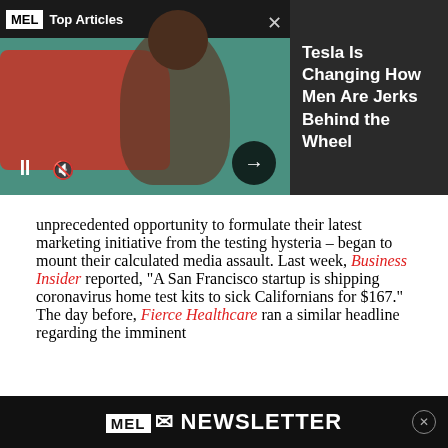[Figure (screenshot): MEL Top Articles widget banner showing a shirtless muscular man with crossed arms and a red Tesla car, with dark background, pause/mute/next controls, and article title 'Tesla Is Changing How Men Are Jerks Behind the Wheel' on the right side]
unprecedented opportunity to formulate their latest marketing initiative from the testing hysteria – began to mount their calculated media assault. Last week, Business Insider reported, “A San Francisco startup is shipping coronavirus home test kits to sick Californians for $167.” The day before, Fierce Healthcare ran a similar headline regarding the imminent intr... Tec...
[Figure (screenshot): MEL Newsletter signup bar at the bottom with envelope icon and text 'MEL NEWSLETTER' in white on black background]